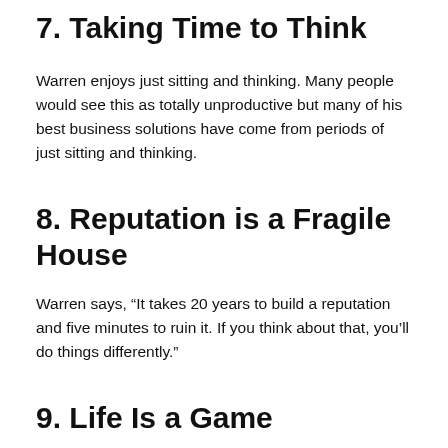7. Taking Time to Think
Warren enjoys just sitting and thinking. Many people would see this as totally unproductive but many of his best business solutions have come from periods of just sitting and thinking.
8. Reputation is a Fragile House
Warren says, “It takes 20 years to build a reputation and five minutes to ruin it. If you think about that, you’ll do things differently.”
9. Life Is a Game